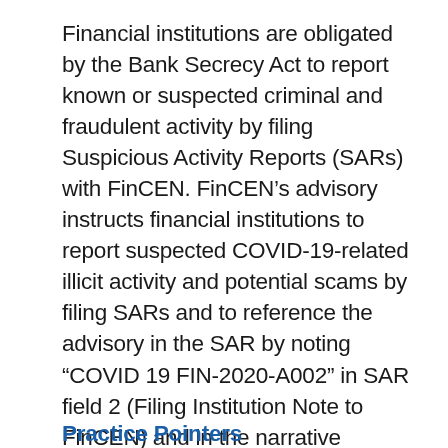Financial institutions are obligated by the Bank Secrecy Act to report known or suspected criminal and fraudulent activity by filing Suspicious Activity Reports (SARs) with FinCEN. FinCEN's advisory instructs financial institutions to report suspected COVID-19-related illicit activity and potential scams by filing SARs and to reference the advisory in the SAR by noting “COVID 19 FIN-2020-A002” in SAR field 2 (Filing Institution Note to FinCEN) and in the narrative portion. This designation will help law enforcement focus in on potential COVID-19-related crime in the increasing number of filed SARs.
Practice Pointers